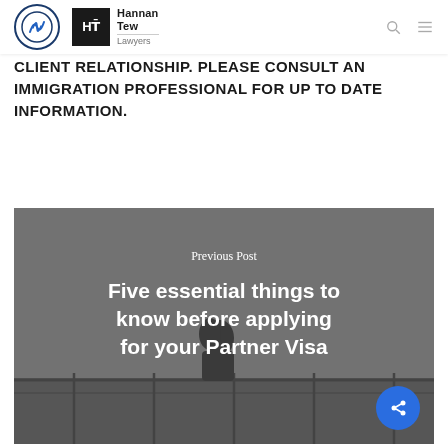Hannan Tew Lawyers (logo header with search and menu icons)
CLIENT RELATIONSHIP. PLEASE CONSULT AN IMMIGRATION PROFESSIONAL FOR UP TO DATE INFORMATION.
[Figure (photo): Previous post card showing a couple silhouette on a balcony/railing with grey sky background, overlaid with text: 'Previous Post — Five essential things to know before applying for your Partner Visa']